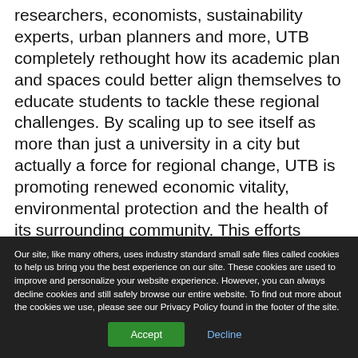researchers, economists, sustainability experts, urban planners and more, UTB completely rethought how its academic plan and spaces could better align themselves to educate students to tackle these regional challenges. By scaling up to see itself as more than just a university in a city but actually a force for regional change, UTB is promoting renewed economic vitality, environmental protection and the health of its surrounding community. This efforts creates new opportunities for local students and also for the university to be globally significant while spurring economic development in the region.
Our site, like many others, uses industry standard small safe files called cookies to help us bring you the best experience on our site. These cookies are used to improve and personalize your website experience. However, you can always decline cookies and still safely browse our entire website. To find out more about the cookies we use, please see our Privacy Policy found in the footer of the site.